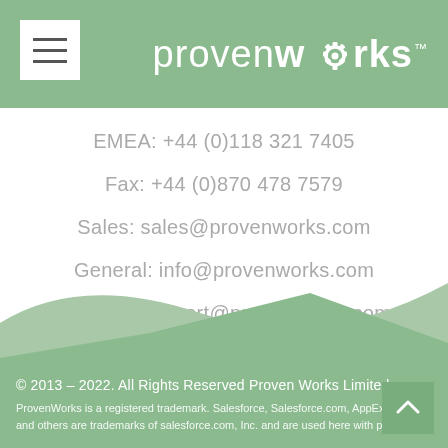provenworks
EMEA: +44 (0)118 321 7405
Fax: +44 (0)870 478 7579
Sales: sales@provenworks.com
General: info@provenworks.com
Support: support@provenworks.com
Finance: accounts@provenworks.com
© 2013 – 2022. All Rights Reserved Proven Works Limited
ProvenWorks is a registered trademark. Salesforce, Salesforce.com, AppExchange and others are trademarks of salesforce.com, Inc. and are used here with permission